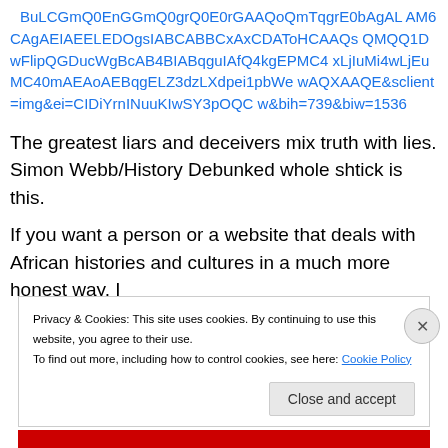BuLCGmQ0EnGGmQ0grQ0E0rGAAQoQmTqgrE0bAgAL AM6CAgAEIAEELEDOgsIABCABBCxAxCDAToHCAAQs QMQQ1DwFlipQGDucWgBcAB4BIABqguIAfQ4kgEPMC4 xLjIuMi4wLjEuMC40mAEAoAEBqgELZ3dzLXdpei1pbWe wAQXAAQE&sclient=img&ei=CIDiYrnINuuKIwSY3pOQC w&bih=739&biw=1536
The greatest liars and deceivers mix truth with lies. Simon Webb/History Debunked whole shtick is this.
If you want a person or a website that deals with African histories and cultures in a much more honest way, I
Privacy & Cookies: This site uses cookies. By continuing to use this website, you agree to their use.
To find out more, including how to control cookies, see here: Cookie Policy
Close and accept